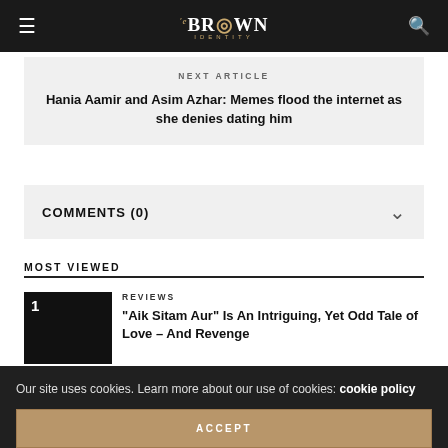The Brown Identity
NEXT ARTICLE
Hania Aamir and Asim Azhar: Memes flood the internet as she denies dating him
COMMENTS (0)
MOST VIEWED
REVIEWS
“Aik Sitam Aur” Is An Intriguing, Yet Odd Tale of Love – And Revenge
Our site uses cookies. Learn more about our use of cookies: cookie policy
ACCEPT